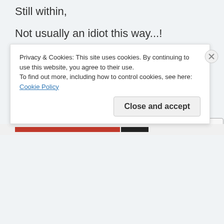Still within,
Not usually an idiot this way...!
—
–Jonathan Caswell
Share this:
Twitter  Facebook  Tumblr  Pinterest
Privacy & Cookies: This site uses cookies. By continuing to use this website, you agree to their use.
To find out more, including how to control cookies, see here: Cookie Policy
Close and accept